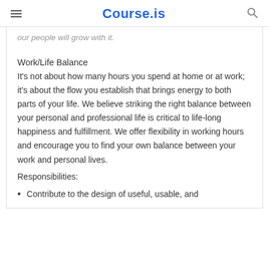Course.is
our people will grow with it.
Work/Life Balance
It's not about how many hours you spend at home or at work; it's about the flow you establish that brings energy to both parts of your life. We believe striking the right balance between your personal and professional life is critical to life-long happiness and fulfillment. We offer flexibility in working hours and encourage you to find your own balance between your work and personal lives.
Responsibilities:
Contribute to the design of useful, usable, and